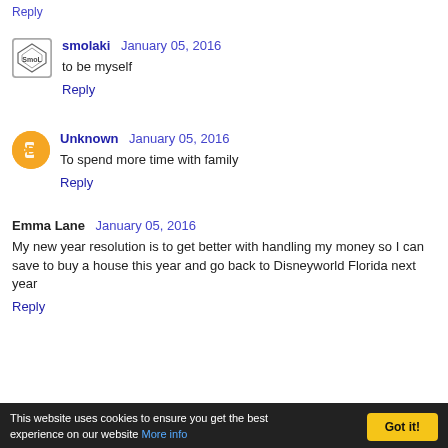smolaki  January 05, 2016
to be myself
Reply
Unknown  January 05, 2016
To spend more time with family
Reply
Emma Lane  January 05, 2016
My new year resolution is to get better with handling my money so I can save to buy a house this year and go back to Disneyworld Florida next year
Reply
This website uses cookies to ensure you get the best experience on our website More info  Got it!